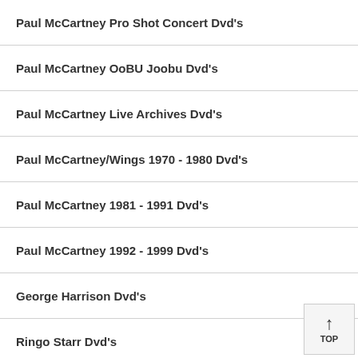Paul McCartney Pro Shot Concert Dvd's
Paul McCartney OoBU Joobu Dvd's
Paul McCartney Live Archives Dvd's
Paul McCartney/Wings 1970 - 1980 Dvd's
Paul McCartney 1981 - 1991 Dvd's
Paul McCartney 1992 - 1999 Dvd's
George Harrison Dvd's
Ringo Starr Dvd's